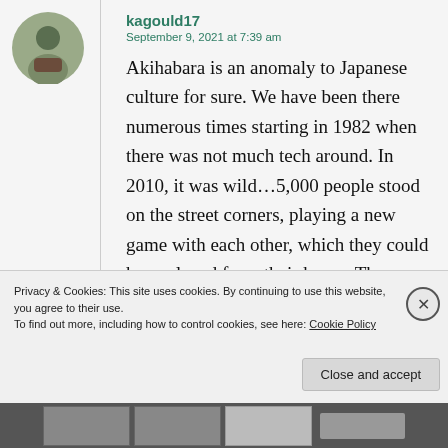[Figure (photo): User avatar photo showing a person, circular crop]
kagould17
September 9, 2021 at 7:39 am
Akihabara is an anomaly to Japanese culture for sure. We have been there numerous times starting in 1982 when there was not much tech around. In 2010, it was wild...5,000 people stood on the street corners, playing a new game with each other, which they could have played from their home. The electronic stores were manic and the anime/manga
Privacy & Cookies: This site uses cookies. By continuing to use this website, you agree to their use.
To find out more, including how to control cookies, see here: Cookie Policy
Close and accept